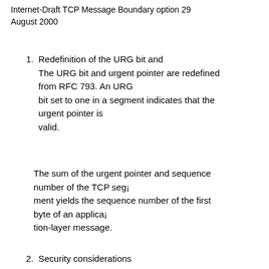Internet-Draft TCP Message Boundary option 29 August 2000
1. Redefinition of the URG bit and
The URG bit and urgent pointer are redefined from RFC 793. An URG bit set to one in a segment indicates that the urgent pointer is valid.
The sum of the urgent pointer and sequence number of the TCP segment yields the sequence number of the first byte of an application-layer message.
2. Security considerations